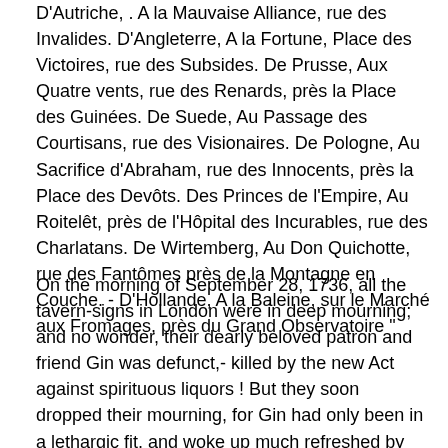D'Autriche, . A la Mauvaise Alliance, rue des Invalides. D'Angleterre, A la Fortune, Place des Victoires, rue des Subsides. De Prusse, Aux Quatre vents, rue des Renards, près la Place des Guinées. De Suede, Au Passage des Courtisans, rue des Visionaires. De Pologne, Au Sacrifice d'Abraham, rue des Innocents, près la Place des Devôts. Des Princes de l'Empire, Au Roitelêt, près de l'Hôpital des Incurables, rue des Charlatans. De Wirtemberg, Au Don Quichotte, rue des Fantômes près de la Montagne en Couche. - D'Hollande, A la Baleine, sur le Marché aux Fromages, près du Grand Observatoire "
On the morning of September 28, 1736, all the tavern-signs in London were in deep mourning; and no wonder, their dearly beloved patron and friend Gin was defunct,- killed by the new Act against spirituous liquors ! But they soon dropped their mourning, for Gin had only been in a lethargic fit, and woke up much refreshed by his sleep. Fifteen years after, when Hogarth painted his * Gin Lane,o